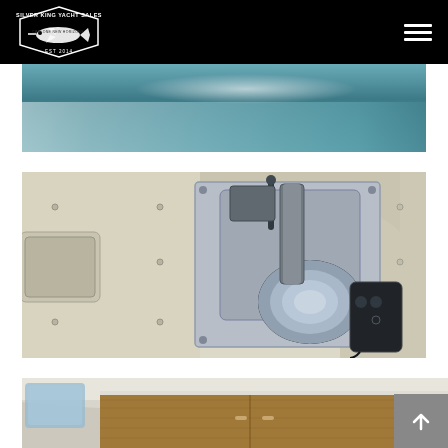Silver King Yacht Sales — navigation header with logo and hamburger menu
[Figure (photo): Aerial or stern view of a boat moving through water, showing wake and green/blue water]
[Figure (photo): Close-up view of a boat anchor windlass / winch mechanical equipment in a bow compartment, stainless steel hardware on cream-colored fiberglass]
[Figure (photo): Partial view of boat interior showing wood cabinetry and white fiberglass surfaces, cabin interior]